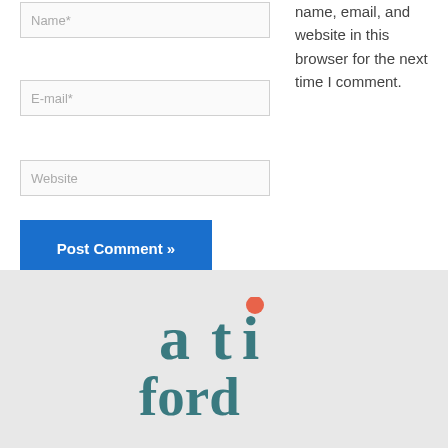Name*
E-mail*
Website
name, email, and website in this browser for the next time I comment.
Post Comment »
[Figure (logo): Ali Ford logo — stylized serif text 'ali ford' in teal/dark cyan color with an orange dot above the letter 'i']